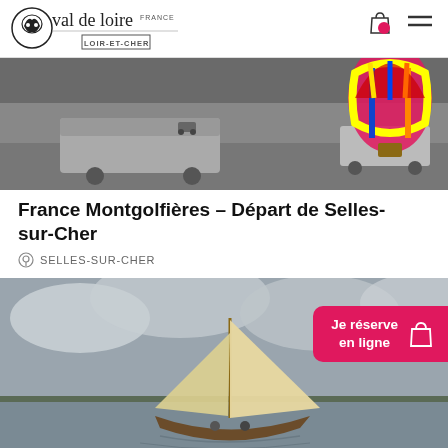[Figure (logo): Val de Loire France – Loir-et-Cher logo with stylized animal in circle]
[Figure (photo): Black and white photo of hot air balloon launch site with vans and colorful balloon]
France Montgolfières – Départ de Selles-sur-Cher
SELLES-SUR-CHER
[Figure (photo): Photo of a traditional wooden sailboat on a river with cloudy sky, with a pink 'Je réserve en ligne' button overlay]